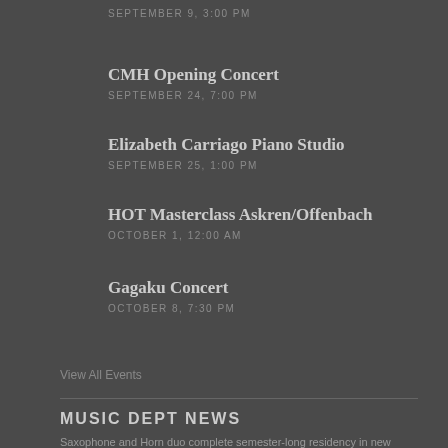SEPTEMBER 9, 3:00 PM
CMH Opening Concert
SEPTEMBER 24, 7:00 PM
Elizabeth Carriago Piano Studio
SEPTEMBER 25, 1:00 PM
HOT Masterclass Askren/Offenbach
OCTOBER 1, 12:00 AM
Gagaku Concert
OCTOBER 8, 7:30 PM
View All Events
MUSIC DEPT NEWS
Saxophone and Horn duo complete semester-long residency in new music with UH